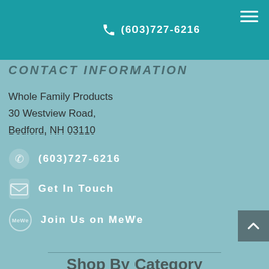(603)727-6216
CONTACT INFORMATION
Whole Family Products
30 Westview Road,
Bedford, NH 03110
(603)727-6216
Get In Touch
Join Us on MeWe
Shop By Category
Andropause and Menopause Products | Anti-Aging Body and Spa Cream | Chronic